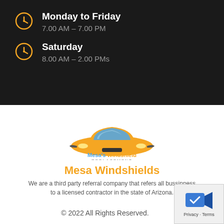Monday to Friday
7.00 AM – 7.00 PM
Saturday
8.00 AM – 2.00 PMs
[Figure (logo): Mesa's Windshield Replacement logo: orange car front view with blue windshield, text 'Mesa's Windshield REPLACEMENT']
Mesa Windshields
We are a third party referral company that refers all bussinness to a licensed contractor in the state of Arizona.
© 2022 All Rights Reserved.